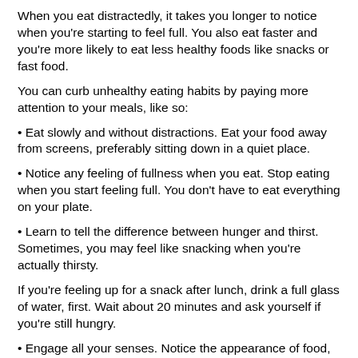When you eat distractedly, it takes you longer to notice when you're starting to feel full. You also eat faster and you're more likely to eat less healthy foods like snacks or fast food.
You can curb unhealthy eating habits by paying more attention to your meals, like so:
• Eat slowly and without distractions. Eat your food away from screens, preferably sitting down in a quiet place.
• Notice any feeling of fullness when you eat. Stop eating when you start feeling full. You don't have to eat everything on your plate.
• Learn to tell the difference between hunger and thirst. Sometimes, you may feel like snacking when you're actually thirsty.
If you're feeling up for a snack after lunch, drink a full glass of water, first. Wait about 20 minutes and ask yourself if you're still hungry.
• Engage all your senses. Notice the appearance of food, its textures, smells, and tastes.